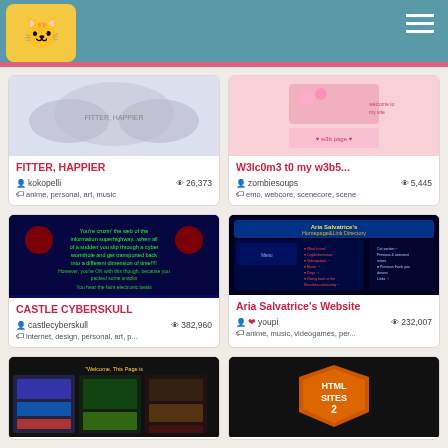Neocities header with logo and hamburger menu
[Figure (screenshot): FITTER, HAPPIER website screenshot showing angel wings image]
FITTER, HAPPIER
kokopelli  26,373
anime, personal, art, music
[Figure (screenshot): W3lc0m3 t0 my w3b5... website screenshot with pink kawaii design]
W3lc0m3 t0 my w3b5...
zombiesoups  5,445
emo, webcore, scenecore, scene
[Figure (screenshot): Castle Cyberskull website with dark blue background and green text about cruising the web]
CASTLE CYBERSKULL
castlecyberskull  382,960
internet, design, personal, art, p...
[Figure (screenshot): Aria Salvatrice's Homepage and Link Directory with anime characters]
Aria Salvatrice's Website
youpi  232,007
anime, music, videogames, per...
[Figure (screenshot): Bottom left website screenshot with anime collage]
[Figure (screenshot): HTML Sites 2 orange shield logo on black background]